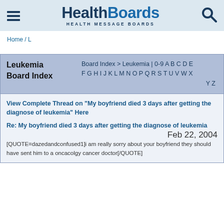[Figure (logo): HealthBoards Health Message Boards logo with hamburger menu icon and search icon on light blue background]
Home / L
Leukemia Board Index
Board Index > Leukemia | 0-9 A B C D E F G H I J K L M N O P Q R S T U V W X Y Z
View Complete Thread on "My boyfriend died 3 days after getting the diagnose of leukemia" Here
Re: My boyfriend died 3 days after getting the diagnose of leukemia
Feb 22, 2004
[QUOTE=dazedandconfused1]i am really sorry about your boyfriend they should have sent him to a oncacolgy cancer doctor[/QUOTE]